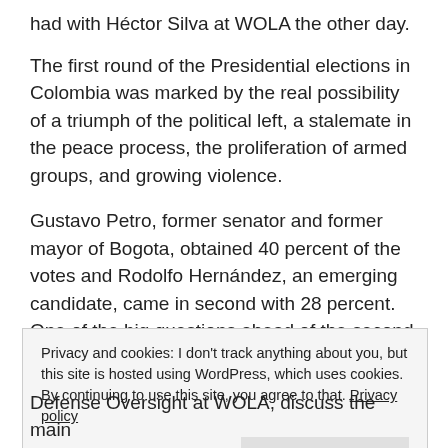had with Héctor Silva at WOLA the other day.
The first round of the Presidential elections in Colombia was marked by the real possibility of a triumph of the political left, a stalemate in the peace process, the proliferation of armed groups, and growing violence.
Gustavo Petro, former senator and former mayor of Bogota, obtained 40 percent of the votes and Rodolfo Hernández, an emerging candidate, came in second with 28 percent. One of the big questions ahead of the second round on June 19 is whether Hernández will be able to capitalize on the 55 percent of voters who did
Privacy and cookies: I don't track anything about you, but this site is hosted using WordPress, which uses cookies. By continuing to use this site, you agree to that. Privacy policy
Defense Oversight at WOLA, discuss the main